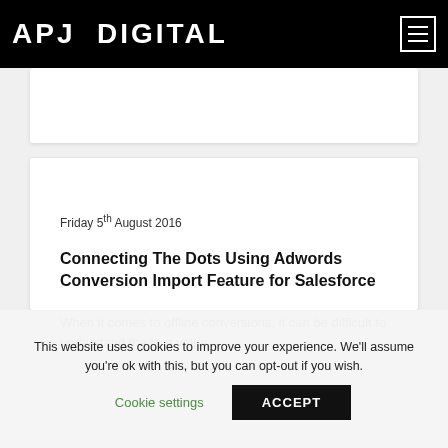APJ DIGITAL
Friday 5th August 2016
Connecting The Dots Using Adwords Conversion Import Feature for Salesforce
When it comes to offline conversions, it can be difficult to understand the true value...
This website uses cookies to improve your experience. We'll assume you're ok with this, but you can opt-out if you wish.